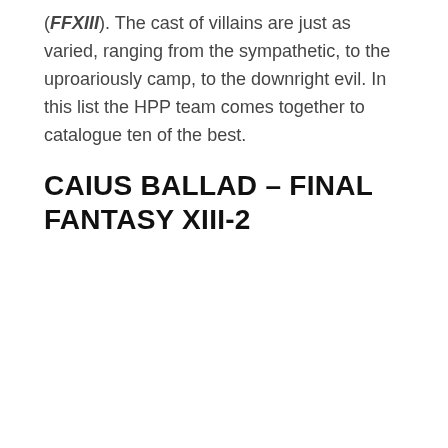(FFXIII). The cast of villains are just as varied, ranging from the sympathetic, to the uproariously camp, to the downright evil. In this list the HPP team comes together to catalogue ten of the best.
CAIUS BALLAD – FINAL FANTASY XIII-2